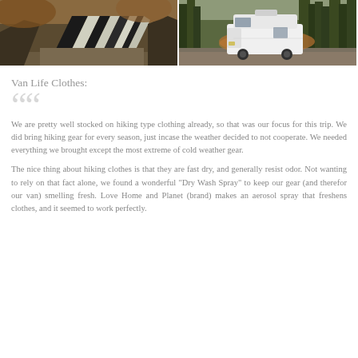[Figure (photo): Two side-by-side outdoor photos. Left: rocky geological formations with black and white layered rocks. Right: white high-roof cargo van parked in a forested area with pine trees.]
Van Life Clothes:
We are pretty well stocked on hiking type clothing already, so that was our focus for this trip. We did bring hiking gear for every season, just incase the weather decided to not cooperate. We needed everything we brought except the most extreme of cold weather gear.
The nice thing about hiking clothes is that they are fast dry, and generally resist odor. Not wanting to rely on that fact alone, we found a wonderful "Dry Wash Spray" to keep our gear (and therefor our van) smelling fresh. Love Home and Planet (brand) makes an aerosol spray that freshens clothes, and it seemed to work perfectly.